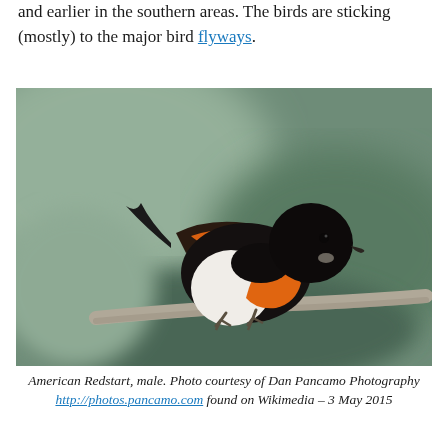and earlier in the southern areas. The birds are sticking (mostly) to the major bird flyways.
[Figure (photo): Photograph of an American Redstart, male, perched on a thin branch. The bird has a black head and back, with vivid orange-red patches on its sides and wings, and a white belly. The background is a soft blurred green-gray.]
American Redstart, male. Photo courtesy of Dan Pancamo Photography http://photos.pancamo.com found on Wikimedia – 3 May 2015